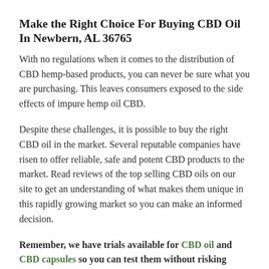Make the Right Choice For Buying CBD Oil In Newbern, AL 36765
With no regulations when it comes to the distribution of CBD hemp-based products, you can never be sure what you are purchasing. This leaves consumers exposed to the side effects of impure hemp oil CBD.
Despite these challenges, it is possible to buy the right CBD oil in the market. Several reputable companies have risen to offer reliable, safe and potent CBD products to the market. Read reviews of the top selling CBD oils on our site to get an understanding of what makes them unique in this rapidly growing market so you can make an informed decision.
Remember, we have trials available for CBD oil and CBD capsules so you can test them without risking much